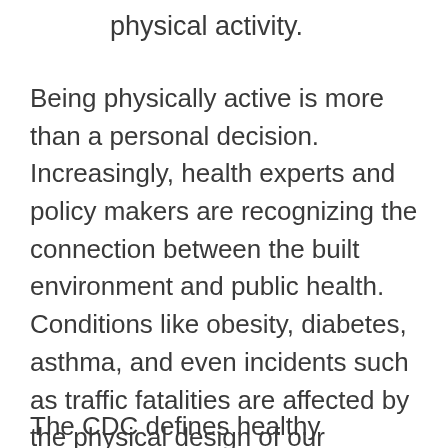physical activity.
Being physically active is more than a personal decision. Increasingly, health experts and policy makers are recognizing the connection between the built environment and public health. Conditions like obesity, diabetes, asthma, and even incidents such as traffic fatalities are affected by the physical design of our communities. Addressing these issues and the factors that contribute to them are main elements of healthy initiatives.
The CDC defines healthy community design as